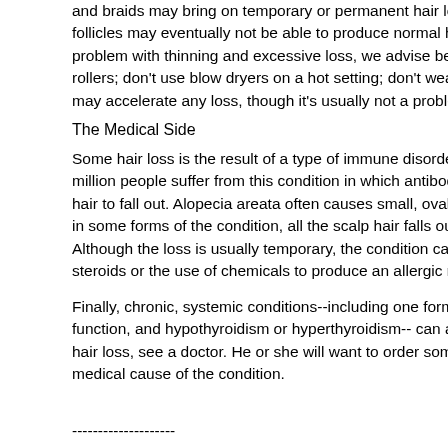and braids may bring on temporary or permanent hair loss... follicles may eventually not be able to produce normal hair, problem with thinning and excessive loss, we advise being rollers; don't use blow dryers on a hot setting; don't wear ti may accelerate any loss, though it's usually not a problem
The Medical Side
Some hair loss is the result of a type of immune disorder k million people suffer from this condition in which antibodies hair to fall out. Alopecia areata often causes small, oval or in some forms of the condition, all the scalp hair falls out; i Although the loss is usually temporary, the condition can re steroids or the use of chemicals to produce an allergic reac
Finally, chronic, systemic conditions--including one form of function, and hypothyroidism or hyperthyroidism-- can affe hair loss, see a doctor. He or she will want to order some b medical cause of the condition.
--------------------